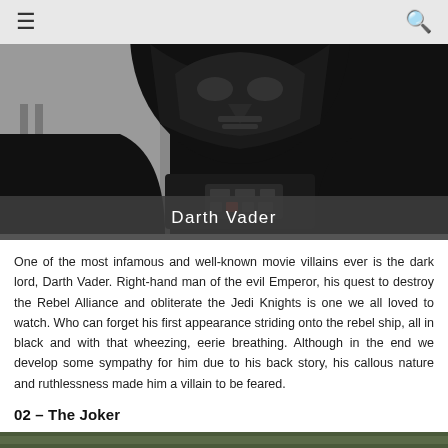≡  🔍
[Figure (photo): Dark image of Darth Vader in black helmet and chest armor against a light background]
Darth Vader
One of the most infamous and well-known movie villains ever is the dark lord, Darth Vader. Right-hand man of the evil Emperor, his quest to destroy the Rebel Alliance and obliterate the Jedi Knights is one we all loved to watch. Who can forget his first appearance striding onto the rebel ship, all in black and with that wheezing, eerie breathing. Although in the end we develop some sympathy for him due to his back story, his callous nature and ruthlessness made him a villain to be feared.
02 – The Joker
[Figure (photo): Partial bottom image showing The Joker character]